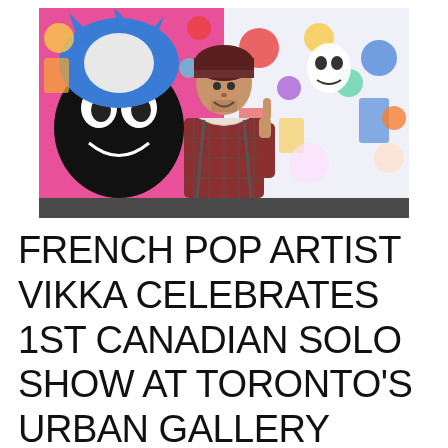[Figure (photo): A man wearing a dark beanie hat and plaid flannel jacket stands smiling in front of two colorful pop-art paintings in a gallery. The left painting features a cartoon character with blue hair and expressive eyes; the right painting shows a busy collage of colorful figures and pop imagery.]
FRENCH POP ARTIST VIKKA CELEBRATES 1ST CANADIAN SOLO SHOW AT TORONTO'S URBAN GALLERY